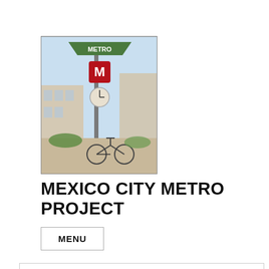[Figure (photo): Photo of a Mexico City Metro station sign/pole with a bicycle parked nearby and buildings in the background, taken outdoors on a sunny day.]
MEXICO CITY METRO PROJECT
MENU
Privacy & Cookies: This site uses cookies. By continuing to use this website, you agree to their use.
To find out more, including how to control cookies, see here:
Cookie Policy
Close and accept
th_DSC06101